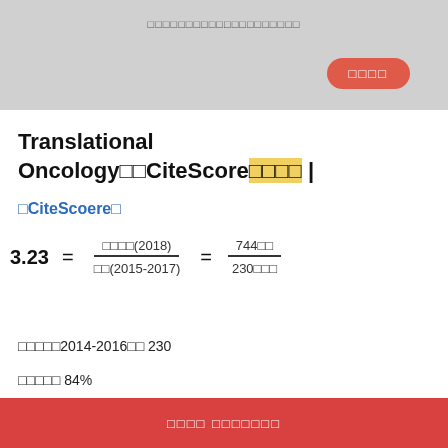【中文字符标题栏】
Translational Oncology的CiteScore计算方式
【CiteScore】
共发表文件2014-2016共 230
百分位数 84%
了解更多 CiteScore相关问题